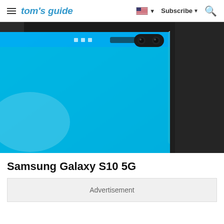tom's guide — Subscribe
[Figure (photo): Close-up photo of Samsung Galaxy S10 5G smartphone showing the edge of the phone with a blue screen, front-facing dual camera punch-hole cutout, and dark background]
Samsung Galaxy S10 5G
Advertisement